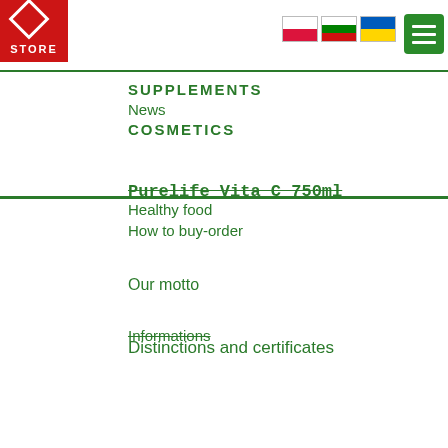[Figure (logo): Red square logo with STORE text]
[Figure (illustration): Polish, Bulgarian, and Ukrainian flag icons]
[Figure (other): Green hamburger menu button]
SUPPLEMENTS
News
COSMETICS
Purelife Vita C 750ml
Healthy food
How to buy-order
Our motto
Informations
Distinctions and certificates